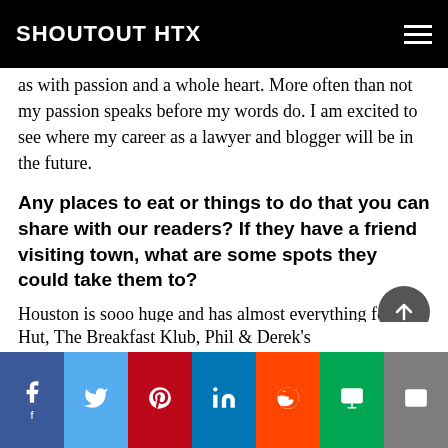SHOUTOUT HTX
as with passion and a whole heart. More often than not my passion speaks before my words do. I am excited to see where my career as a lawyer and blogger will be in the future.
Any places to eat or things to do that you can share with our readers? If they have a friend visiting town, what are some spots they could take them to?
Houston is sooo huge and has almost everything for everyone. We would definitely explore, who doesn't love food? Some of my favorite restaurants are Soul Food Vegan, Turkey Leg Hut, The Breakfast Klub, Phil & Derek's Restaurant & Jazz Lounge, Taste Bar & Kitchen,